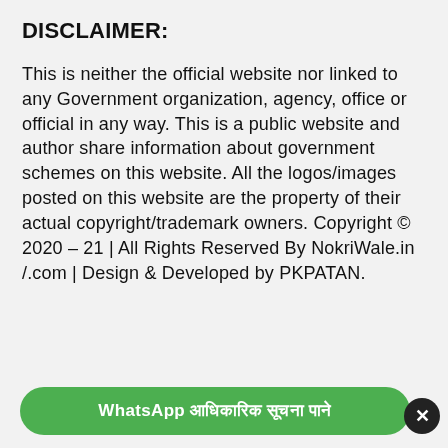DISCLAIMER:
This is neither the official website nor linked to any Government organization, agency, office or official in any way. This is a public website and author share information about government schemes on this website. All the logos/images posted on this website are the property of their actual copyright/trademark owners. Copyright © 2020 – 21 | All Rights Reserved By NokriWale.in /.com | Design & Developed by PKPATAN.
WhatsApp [Devanagari text]